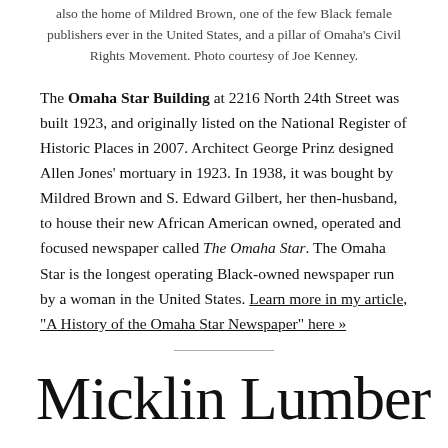also the home of Mildred Brown, one of the few Black female publishers ever in the United States, and a pillar of Omaha's Civil Rights Movement. Photo courtesy of Joe Kenney.
The Omaha Star Building at 2216 North 24th Street was built 1923, and originally listed on the National Register of Historic Places in 2007. Architect George Prinz designed Allen Jones' mortuary in 1923. In 1938, it was bought by Mildred Brown and S. Edward Gilbert, her then-husband, to house their new African American owned, operated and focused newspaper called The Omaha Star. The Omaha Star is the longest operating Black-owned newspaper run by a woman in the United States. Learn more in my article, "A History of the Omaha Star Newspaper" here »
Micklin Lumber